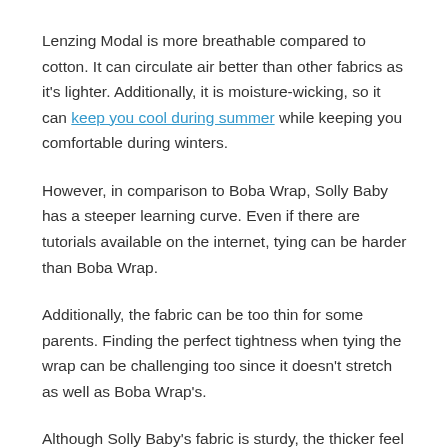Lenzing Modal is more breathable compared to cotton. It can circulate air better than other fabrics as it's lighter. Additionally, it is moisture-wicking, so it can keep you cool during summer while keeping you comfortable during winters.
However, in comparison to Boba Wrap, Solly Baby has a steeper learning curve. Even if there are tutorials available on the internet, tying can be harder than Boba Wrap.
Additionally, the fabric can be too thin for some parents. Finding the perfect tightness when tying the wrap can be challenging too since it doesn't stretch as well as Boba Wrap's.
Although Solly Baby's fabric is sturdy, the thicker feel of Boba Wrap could be more comforting for some parents. It's also more long-lasting from wear-and-tear.
Since Solly Baby can only accommodate up to 25 pounds, you